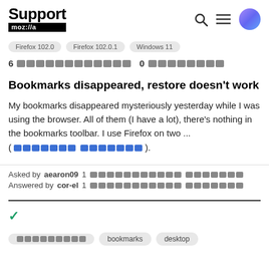Support mozilla// [search] [menu] [avatar]
Firefox 102.0  Firefox 102.0.1  Windows 11
6 [redacted] 0 [redacted]
Bookmarks disappeared, restore doesn't work
My bookmarks disappeared mysteriously yesterday while I was using the browser. All of them (I have a lot), there's nothing in the bookmarks toolbar. I use Firefox on two ... ([read more link]).
Asked by aearon09 1 [redacted]
Answered by cor-el 1 [redacted]
[checkmark]
[redacted tag]  bookmarks  desktop